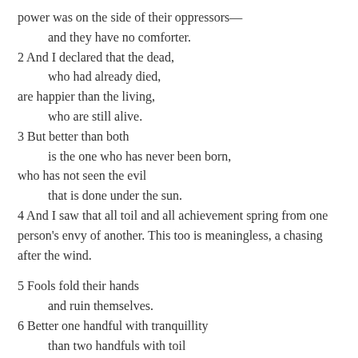power was on the side of their oppressors—
    and they have no comforter.
2 And I declared that the dead,
    who had already died,
are happier than the living,
    who are still alive.
3 But better than both
    is the one who has never been born,
who has not seen the evil
    that is done under the sun.
4 And I saw that all toil and all achievement spring from one person's envy of another. This too is meaningless, a chasing after the wind.

5 Fools fold their hands
    and ruin themselves.
6 Better one handful with tranquillity
    than two handfuls with toil
    and chasing after the wind.